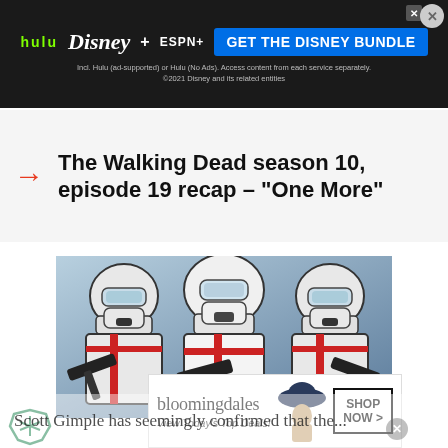[Figure (screenshot): Disney Bundle advertisement banner with Hulu, Disney+, and ESPN+ logos, blue GET THE DISNEY BUNDLE button, and fine print about accessing content separately. Dark background.]
The Walking Dead season 10, episode 19 recap – “One More”
[Figure (illustration): Three armored figures in white armor holding weapons, illustrated comic-book style against a grey-blue background.]
[Figure (screenshot): Bloomingdales advertisement overlay: 'bloomingdales View Today’s Top Deals!' with a woman in a hat and a SHOP NOW > button.]
Scott Gimple has seemingly confirmed that the...